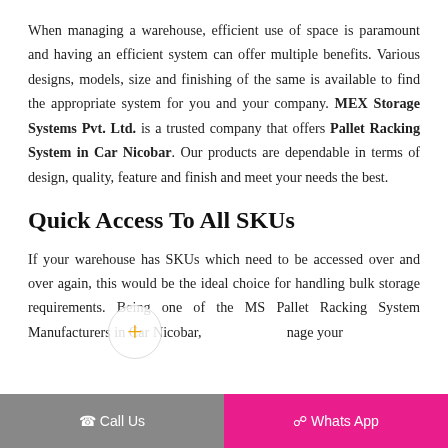When managing a warehouse, efficient use of space is paramount and having an efficient system can offer multiple benefits. Various designs, models, size and finishing of the same is available to find the appropriate system for you and your company. MEX Storage Systems Pvt. Ltd. is a trusted company that offers Pallet Racking System in Car Nicobar. Our products are dependable in terms of design, quality, feature and finish and meet your needs the best.
Quick Access To All SKUs
If your warehouse has SKUs which need to be accessed over and over again, this would be the ideal choice for handling bulk storage requirements. Being one of the MS Pallet Racking System Manufacturers in Car Nicobar, we help you manage your